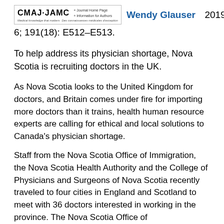CMAJ·JAMC  Wendy Glauser  2019 May 6; 191(18): E512–E513.
To help address its physician shortage, Nova Scotia is recruiting doctors in the UK.
As Nova Scotia looks to the United Kingdom for doctors, and Britain comes under fire for importing more doctors than it trains, health human resource experts are calling for ethical and local solutions to Canada's physician shortage.
Staff from the Nova Scotia Office of Immigration, the Nova Scotia Health Authority and the College of Physicians and Surgeons of Nova Scotia recently traveled to four cities in England and Scotland to meet with 36 doctors interested in working in the province. The Nova Scotia Office of